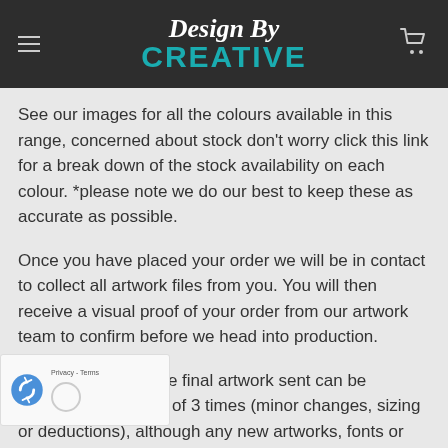[Figure (logo): Design By Creative logo on dark background with hamburger menu icon on left and cart icon on right]
See our images for all the colours available in this range, concerned about stock don’t worry click this link for a break down of the stock availability on each colour. *please note we do our best to keep these as accurate as possible.
Once you have placed your order we will be in contact to collect all artwork files from you. You will then receive a visual proof of your order from our artwork team to confirm before we head into production.
PLEASE NOTE: The final artwork sent can be amended maximum of 3 times (minor changes, sizing or deductions), although any new artworks, fonts or locations will be charged.